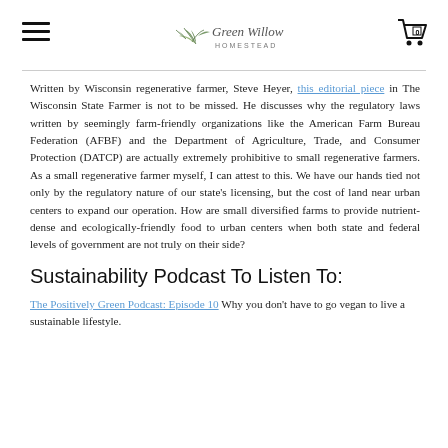Green Willow Homestead
Written by Wisconsin regenerative farmer, Steve Heyer, this editorial piece in The Wisconsin State Farmer is not to be missed. He discusses why the regulatory laws written by seemingly farm-friendly organizations like the American Farm Bureau Federation (AFBF) and the Department of Agriculture, Trade, and Consumer Protection (DATCP) are actually extremely prohibitive to small regenerative farmers. As a small regenerative farmer myself, I can attest to this. We have our hands tied not only by the regulatory nature of our state's licensing, but the cost of land near urban centers to expand our operation. How are small diversified farms to provide nutrient-dense and ecologically-friendly food to urban centers when both state and federal levels of government are not truly on their side?
Sustainability Podcast To Listen To:
The Positively Green Podcast: Episode 10 Why you don't have to go vegan to live a sustainable lifestyle.